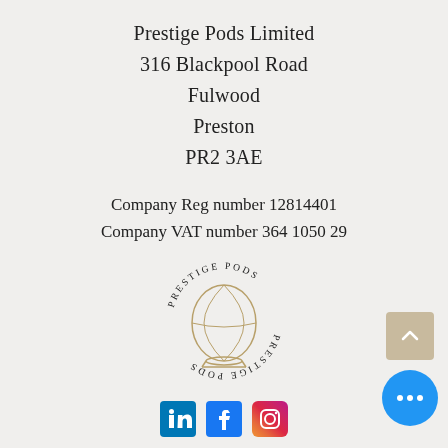Prestige Pods Limited
316 Blackpool Road
Fulwood
Preston
PR2 3AE
Company Reg number 12814401
Company VAT number 364 1050 29
[Figure (logo): Prestige Pods circular logo with globe illustration and text 'PRESTIGE PODS' arranged in a circle, repeated upside-down at the bottom]
[Figure (other): Social media icons: LinkedIn, Facebook, Instagram]
2020 @  Prestige Pods
Company Details